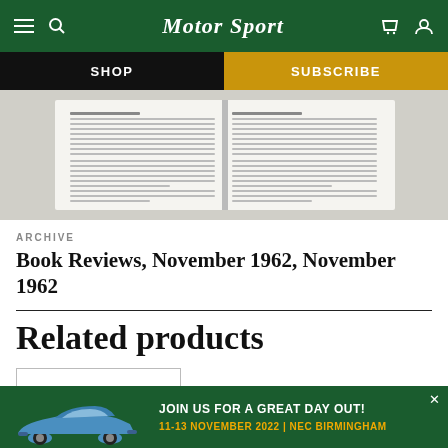MotorSport — navigation bar with hamburger menu, search, logo, cart, and user icons
SHOP | SUBSCRIBE
[Figure (photo): Open book showing magazine pages with text columns, photographed as a spread]
ARCHIVE
Book Reviews, November 1962, November 1962
Related products
VISIT SHOP
[Figure (infographic): Advertisement banner: JOIN US FOR A GREAT DAY OUT! 11-13 NOVEMBER 2022 | NEC BIRMINGHAM, with a blue Porsche 911 car image on the left]